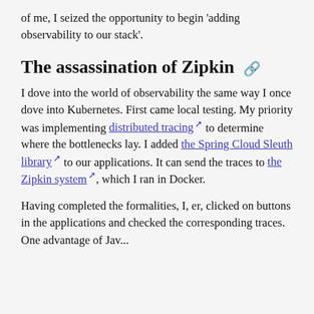of me, I seized the opportunity to begin 'adding observability to our stack'.
The assassination of Zipkin
I dove into the world of observability the same way I once dove into Kubernetes. First came local testing. My priority was implementing distributed tracing to determine where the bottlenecks lay. I added the Spring Cloud Sleuth library to our applications. It can send the traces to the Zipkin system, which I ran in Docker.
Having completed the formalities, I, er, clicked on buttons in the applications and checked the corresponding traces. One advantage of Jav...